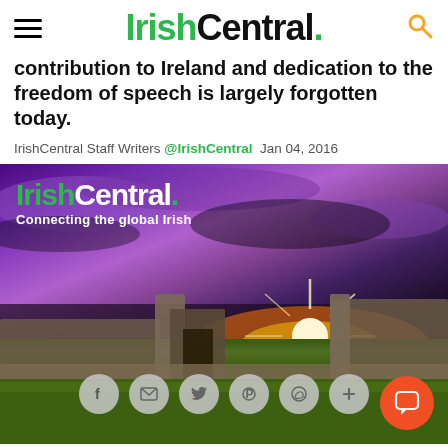IrishCentral.
contribution to Ireland and dedication to the freedom of speech is largely forgotten today.
IrishCentral Staff Writers @IrishCentral Jan 04, 2016
[Figure (photo): IrishCentral banner image showing Irish ruins at sunset with dramatic purple sky, green grass, and stone walls. Logo overlay reads 'IrishCentral. Connecting the global Irish'. Social share buttons (Facebook, email, Twitter, Pinterest, WhatsApp, plus) shown at the bottom. An orange chat button in the lower right.]